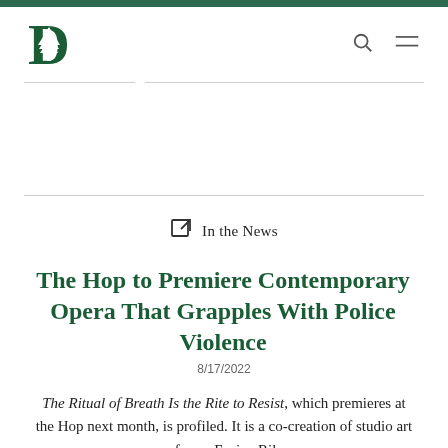Dartmouth College – News page header with logo
In the News
The Hop to Premiere Contemporary Opera That Grapples With Police Violence
8/17/2022
The Ritual of Breath Is the Rite to Resist, which premieres at the Hop next month, is profiled. It is a co-creation of studio art professor Enrico Riley,